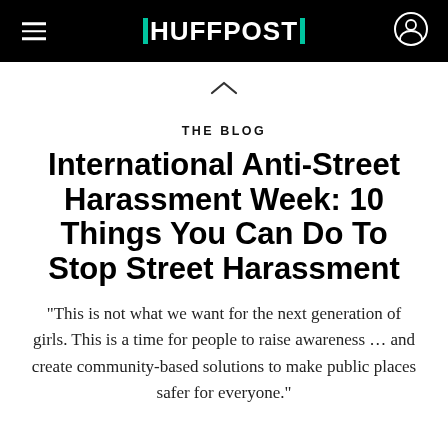HUFFPOST
THE BLOG
International Anti-Street Harassment Week: 10 Things You Can Do To Stop Street Harassment
"This is not what we want for the next generation of girls. This is a time for people to raise awareness ... and create community-based solutions to make public places safer for everyone."